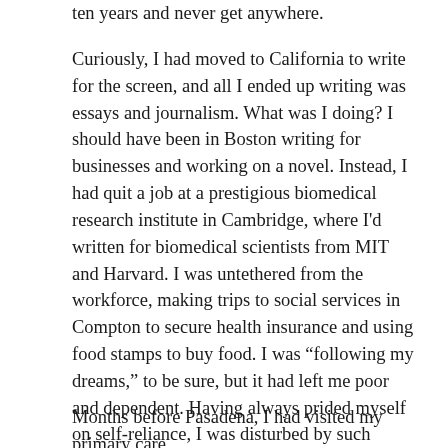ten years and never get anywhere.
Curiously, I had moved to California to write for the screen, and all I ended up writing was essays and journalism. What was I doing? I should have been in Boston writing for businesses and working on a novel. Instead, I had quit a job at a prestigious biomedical research institute in Cambridge, where I'd written for biomedical scientists from MIT and Harvard. I was untethered from the workforce, making trips to social services in Compton to secure health insurance and using food stamps to buy food. I was “following my dreams,” to be sure, but it had left me poor and dependent. Having always prided myself on self-reliance, I was disturbed by such vulnerability. I wasn't in complete control anymore. Things were uncertain. I had always striven to be a somebody; now I was a nobody.
Months before Pasadena, I had visited my primary care